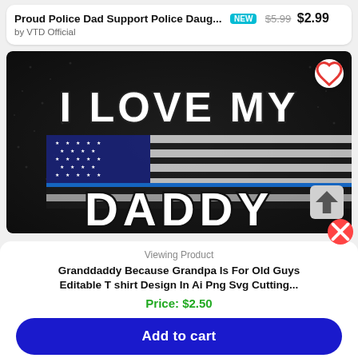Proud Police Dad Support Police Daug... NEW $5.99 $2.99 by VTD Official
[Figure (photo): Dark background product image showing 'I LOVE MY DADDY' text with American thin blue line flag design, with a white heart button and gray up-arrow button overlaid]
Viewing Product
Granddaddy Because Grandpa Is For Old Guys Editable T shirt Design In Ai Png Svg Cutting...
Price: $2.50
Add to cart